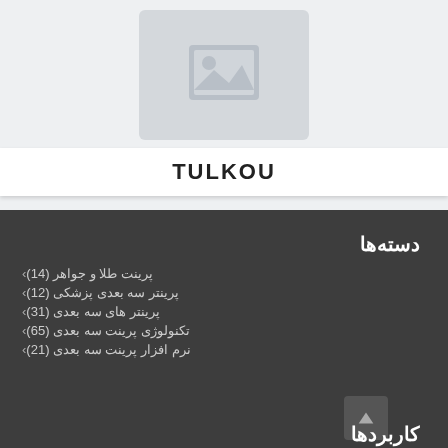[Figure (illustration): Image placeholder icon with a landscape/photo symbol, light gray background]
TULKOU
دسته‌ها
› پرینت طلا و جواهر (14)
› پرینتر سه بعدی پزشکی (12)
› پرینتر های سه بعدی (31)
› تکنولوژی پرینت سه بعدی (65)
› نرم افزار پرینت سه بعدی (21)
کاربردها